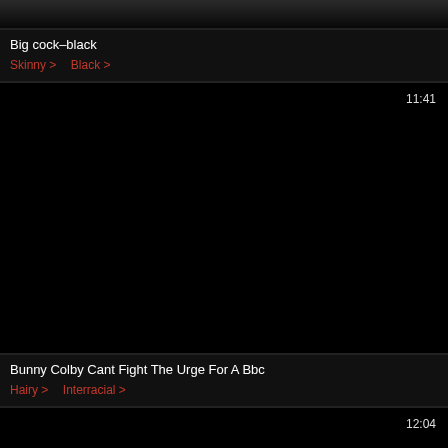[Figure (screenshot): Top portion of a video thumbnail, mostly dark/black with faint image content at top]
Big cock–black
Skinny >   Black >
[Figure (screenshot): Dark/black video thumbnail with timestamp 11:41 in top right corner]
Bunny Colby Cant Fight The Urge For A Bbc
Hairy >   Interracial >
[Figure (screenshot): Dark/black video thumbnail with timestamp 12:04 in top right corner]